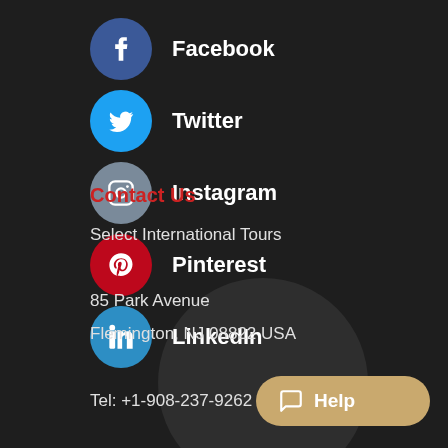Facebook
Twitter
Instagram
Pinterest
LinkedIn
Contact Us
Select International Tours
85 Park Avenue
Flemington, NJ 08822 USA
Tel: +1-908-237-9262